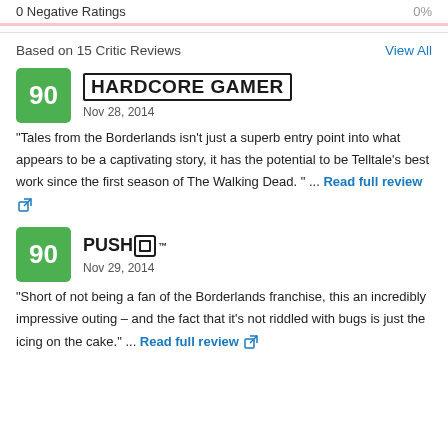0 Negative Ratings ... 0%
Based on 15 Critic Reviews
View All
[Figure (logo): Hardcore Gamer logo — bold outlined text]
Nov 28, 2014
"Tales from the Borderlands isn't just a superb entry point into what appears to be a captivating story, it has the potential to be Telltale's best work since the first season of The Walking Dead. " ... Read full review
[Figure (logo): Push Square logo — bold text with square icon]
Nov 29, 2014
"Short of not being a fan of the Borderlands franchise, this an incredibly impressive outing – and the fact that it's not riddled with bugs is just the icing on the cake." ... Read full review